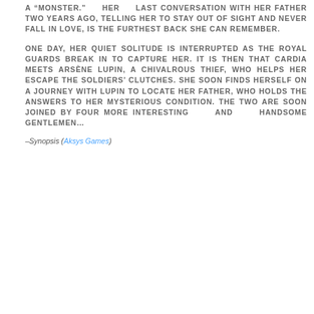A "MONSTER." HER LAST CONVERSATION WITH HER FATHER TWO YEARS AGO, TELLING HER TO STAY OUT OF SIGHT AND NEVER FALL IN LOVE, IS THE FURTHEST BACK SHE CAN REMEMBER.
ONE DAY, HER QUIET SOLITUDE IS INTERRUPTED AS THE ROYAL GUARDS BREAK IN TO CAPTURE HER. IT IS THEN THAT CARDIA MEETS ARSÈNE LUPIN, A CHIVALROUS THIEF, WHO HELPS HER ESCAPE THE SOLDIERS' CLUTCHES. SHE SOON FINDS HERSELF ON A JOURNEY WITH LUPIN TO LOCATE HER FATHER, WHO HOLDS THE ANSWERS TO HER MYSTERIOUS CONDITION. THE TWO ARE SOON JOINED BY FOUR MORE INTERESTING AND HANDSOME GENTLEMEN...
-Synopsis (Aksys Games)